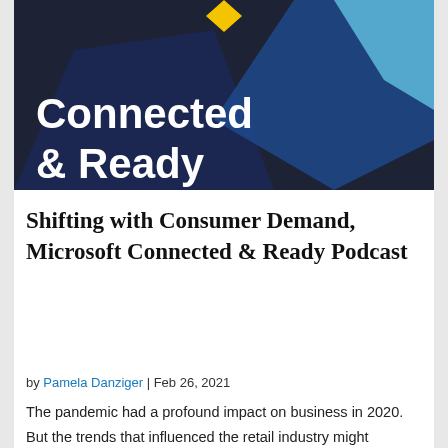[Figure (illustration): Connected & Ready podcast banner with dark navy background, geometric blue shapes, and white bold text reading 'Connected & Ready']
Shifting with Consumer Demand, Microsoft Connected & Ready Podcast
by Pamela Danziger | Feb 26, 2021
The pandemic had a profound impact on business in 2020. But the trends that influenced the retail industry might surprise you. In this episode of Connected & Ready,